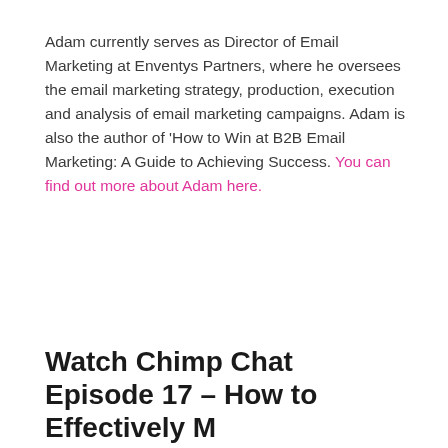Adam currently serves as Director of Email Marketing at Enventys Partners, where he oversees the email marketing strategy, production, execution and analysis of email marketing campaigns. Adam is also the author of 'How to Win at B2B Email Marketing: A Guide to Achieving Success. You can find out more about Adam here.
Watch Chimp Chat Episode 17 – How to Effectively M…